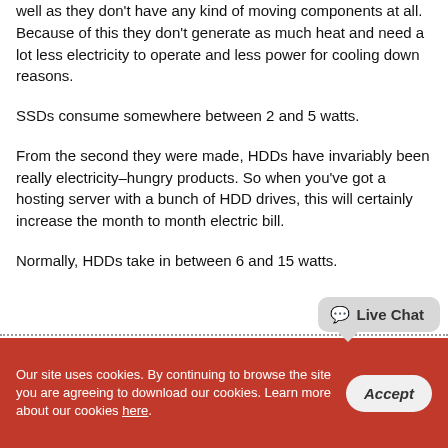well as they don't have any kind of moving components at all. Because of this they don't generate as much heat and need a lot less electricity to operate and less power for cooling down reasons.
SSDs consume somewhere between 2 and 5 watts.
From the second they were made, HDDs have invariably been really electricity–hungry products. So when you've got a hosting server with a bunch of HDD drives, this will certainly increase the month to month electric bill.
Normally, HDDs take in between 6 and 15 watts.
Our site uses cookies. By continuing to browse the site you are agreeing to download our cookies. Learn more about our cookies here.